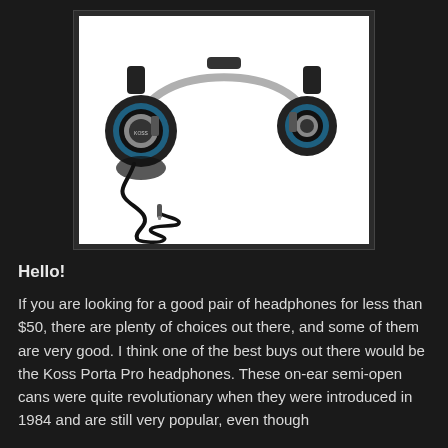[Figure (photo): Photo of Koss Porta Pro headphones — black and silver on-ear headphones with blue accents and a coiled cable with 3.5mm jack, displayed on a white background inside a dark-bordered image frame.]
Hello!
If you are looking for a good pair of headphones for less than $50, there are plenty of choices out there, and some of them are very good. I think one of the best buys out there would be the Koss Porta Pro headphones. These on-ear semi-open cans were quite revolutionary when they were introduced in 1984 and are still very popular, even though